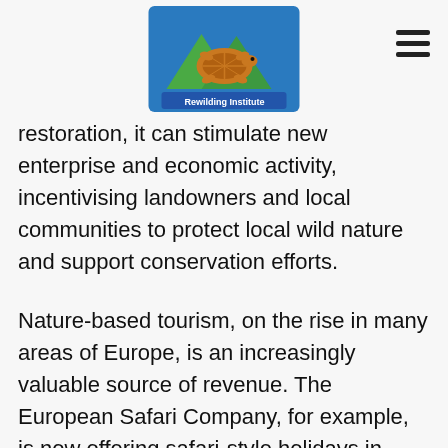Rewilding Institute logo and navigation
restoration, it can stimulate new enterprise and economic activity, incentivising landowners and local communities to protect local wild nature and support conservation efforts.
Nature-based tourism, on the rise in many areas of Europe, is an increasingly valuable source of revenue. The European Safari Company, for example, is now offering safari-style holidays in rewilded European landscapes, with a percentage of profits recycled back into conservation. A Scotland or Wales boasting enhanced biodiversity and iconic species such as the beaver and golden